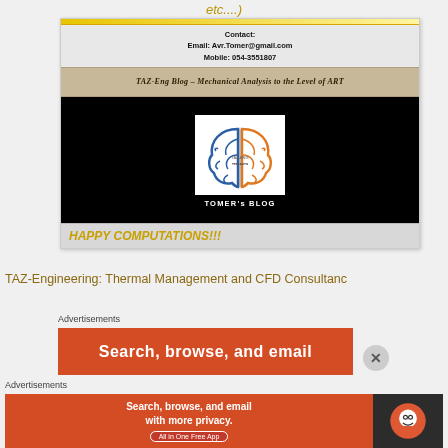etc....)
[Figure (screenshot): TAZ-Eng Blog website header screenshot showing contact info, blog banner with brain-gear logo and 'TOMER's BLOG' text, and 'HAPPY COMPUTATIONS!!!' text at bottom]
TAZ-Engineering: Thermal Management and CFD Consultanc
Advertisements
[Figure (screenshot): Advertisement banner: 'Search, browse, and email' on orange background]
Advertisements
[Figure (screenshot): DuckDuckGo advertisement: 'Search, browse, and email with more privacy. All in One Free App' with DuckDuckGo logo on dark background]